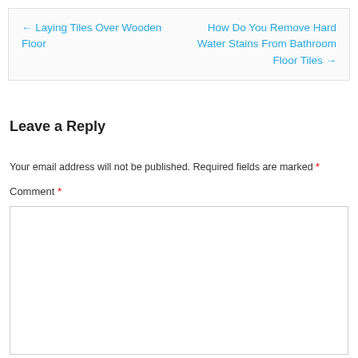← Laying Tiles Over Wooden Floor
How Do You Remove Hard Water Stains From Bathroom Floor Tiles →
Leave a Reply
Your email address will not be published. Required fields are marked *
Comment *